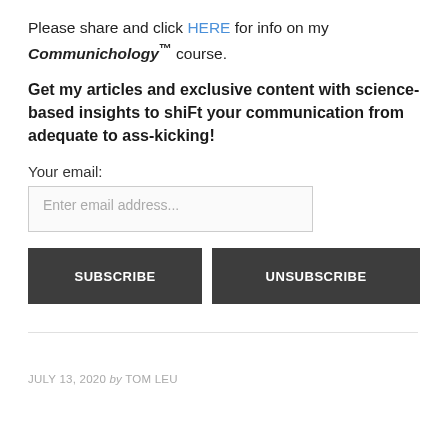Please share and click HERE for info on my Communichology™ course.
Get my articles and exclusive content with science-based insights to shiFt your communication from adequate to ass-kicking!
Your email:
Enter email address...
SUBSCRIBE   UNSUBSCRIBE
JULY 13, 2020 by TOM LEU